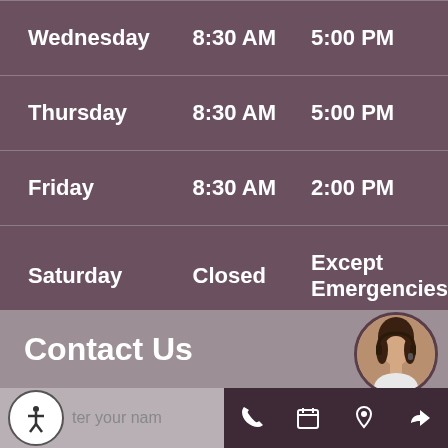| Day | Open | Close |
| --- | --- | --- |
| Wednesday | 8:30 AM | 5:00 PM |
| Thursday | 8:30 AM | 5:00 PM |
| Friday | 8:30 AM | 2:00 PM |
| Saturday | Closed | Except Emergencies |
| Sunday | Closed | Except Emergencies |
Contact Us
[Figure (photo): Customer service representative avatar photo, circular crop, bottom right of contact section]